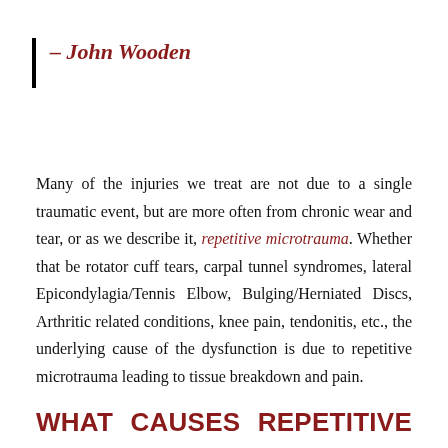– John Wooden
Many of the injuries we treat are not due to a single traumatic event, but are more often from chronic wear and tear, or as we describe it, repetitive microtrauma. Whether that be rotator cuff tears, carpal tunnel syndromes, lateral Epicondylagia/Tennis Elbow, Bulging/Herniated Discs, Arthritic related conditions, knee pain, tendonitis, etc., the underlying cause of the dysfunction is due to repetitive microtrauma leading to tissue breakdown and pain.
WHAT    CAUSES    REPETITIVE